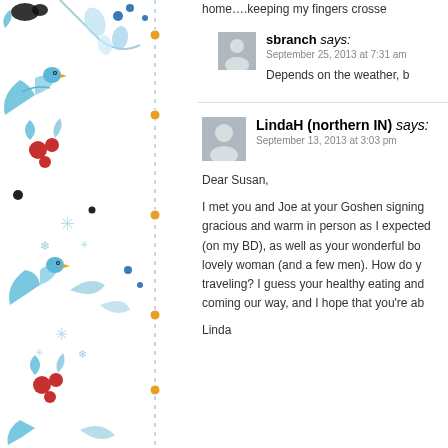[Figure (illustration): Decorative watercolor/folk art illustration on the left side with light blue birds, flowers, leaves, red berries, black dots, and a vertical dashed line with small orange/gold circle accents running down the center of the decorative panel.]
home….keeping my fingers crosse
sbranch says: September 25, 2013 at 7:31 am
Depends on the weather, b
LindaH (northern IN) says: September 13, 2013 at 3:03 pm
Dear Susan,
I met you and Joe at your Goshen signing gracious and warm in person as I expected (on my BD), as well as your wonderful bo lovely woman (and a few men). How do y traveling? I guess your healthy eating and coming our way, and I hope that you're ab
Linda